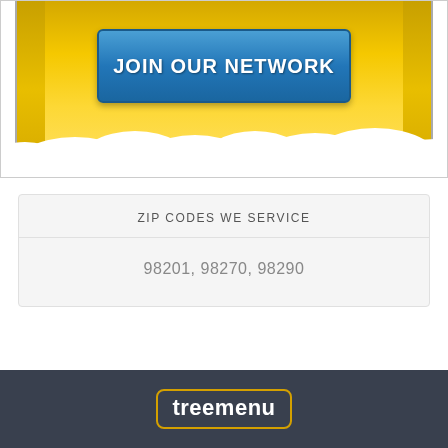[Figure (illustration): Gold/yellow banner background with white clouds at the bottom and a blue 'JOIN OUR NETWORK' button in the center]
ZIP CODES WE SERVICE
98201, 98270, 98290
[Figure (logo): Treemenu logo: word 'treemenu' in white text inside an orange/gold rounded rectangle border, on dark navy background]